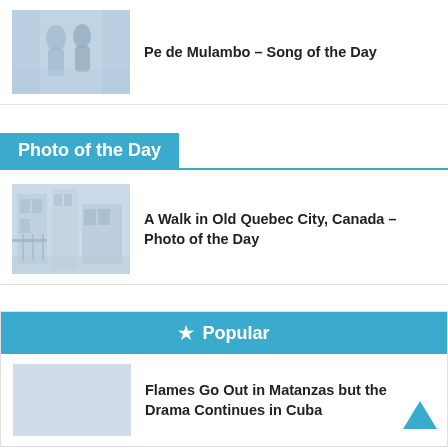[Figure (photo): Thumbnail photo of two people on a street, muted blue-grey tones]
Pe de Mulambo – Song of the Day
Photo of the Day
[Figure (photo): Thumbnail photo of an old city street scene, muted blue-grey tones]
A Walk in Old Quebec City, Canada – Photo of the Day
Popular
Flames Go Out in Matanzas but the Drama Continues in Cuba